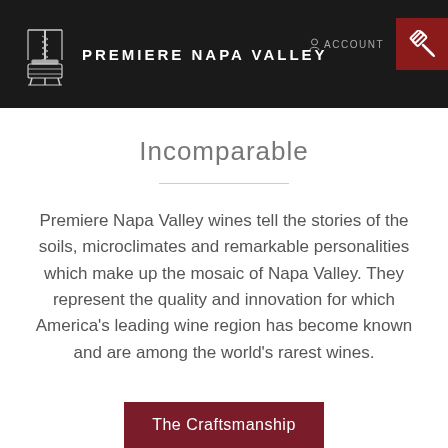PREMIERE NAPA VALLEY | ACCOUNT
Incomparable
Premiere Napa Valley wines tell the stories of the soils, microclimates and remarkable personalities which make up the mosaic of Napa Valley. They represent the quality and innovation for which America's leading wine region has become known and are among the world's rarest wines.
The Craftsmanship